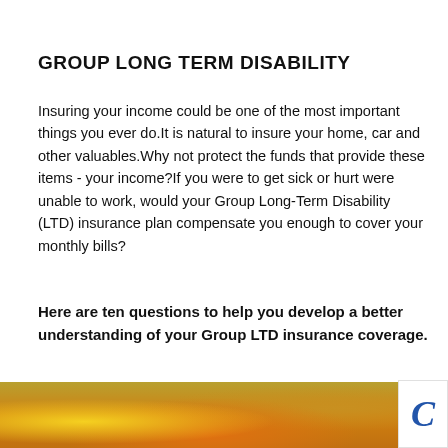GROUP LONG TERM DISABILITY
Insuring your income could be one of the most important things you ever do.It is natural to insure your home, car and other valuables.Why not protect the funds that provide these items - your income?If you were to get sick or hurt were unable to work, would your Group Long-Term Disability (LTD) insurance plan compensate you enough to cover your monthly bills?
Here are ten questions to help you develop a better understanding of your Group LTD insurance coverage.
[Figure (photo): Autumn foliage photo strip at the bottom of the page with orange and yellow leaves]